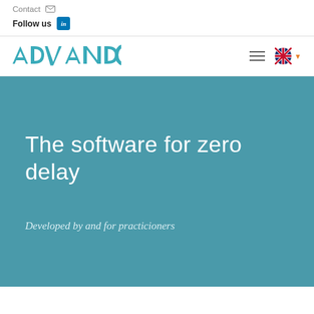Contact
Follow us
[Figure (logo): ADVANDO company logo in teal/cyan geometric font]
The software for zero delay
Developed by and for practicioners